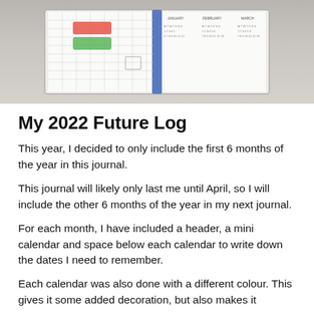[Figure (photo): Photo of an open bullet journal showing a future log spread with a grid layout, mini calendars labeled January, February, March, and small sticker tabs.]
My 2022 Future Log
This year, I decided to only include the first 6 months of the year in this journal.
This journal will likely only last me until April, so I will include the other 6 months of the year in my next journal.
For each month, I have included a header, a mini calendar and space below each calendar to write down the dates I need to remember.
Each calendar was also done with a different colour. This gives it some added decoration, but also makes it